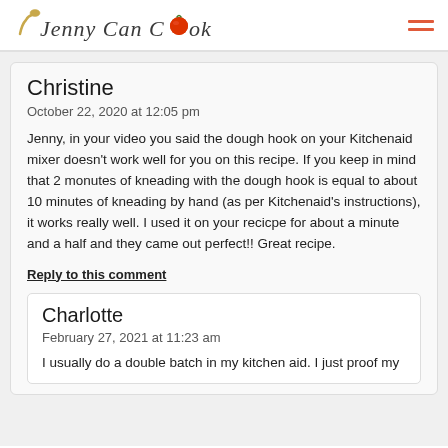Jenny Can Cook
Christine
October 22, 2020 at 12:05 pm

Jenny, in your video you said the dough hook on your Kitchenaid mixer doesn't work well for you on this recipe. If you keep in mind that 2 monutes of kneading with the dough hook is equal to about 10 minutes of kneading by hand (as per Kitchenaid's instructions), it works really well. I used it on your recicpe for about a minute and a half and they came out perfect!! Great recipe.
Reply to this comment
Charlotte
February 27, 2021 at 11:23 am

I usually do a double batch in my kitchen aid. I just proof my